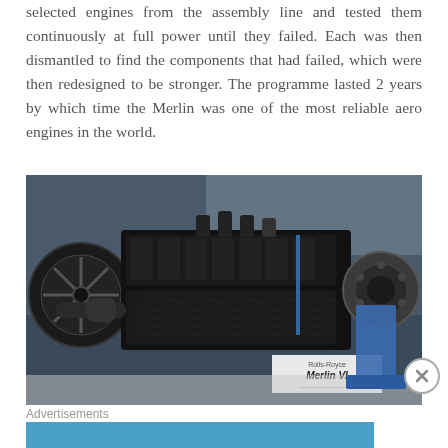selected engines from the assembly line and tested them continuously at full power until they failed. Each was then dismantled to find the components that had failed, which were then redesigned to be stronger. The programme lasted 2 years by which time the Merlin was one of the most reliable aero engines in the world.
[Figure (photo): A Rolls-Royce Merlin VI aero engine on display in a museum setting. The engine is painted black and shows the complex mechanical structure of the V12 engine block. A museum label reading 'Rolls-Royce Merlin VI' is visible in the lower right of the image.]
Advertisements
[Figure (infographic): Advertisement banner for Automattic with tagline 'Love working again.' on a blue background.]